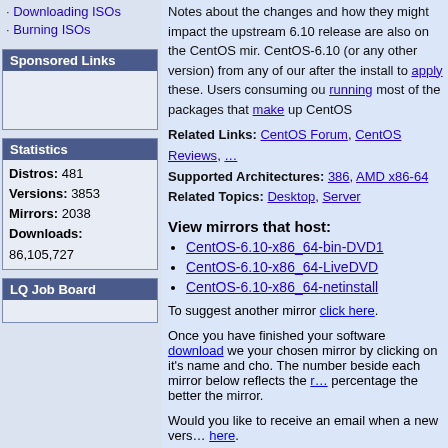· Downloading ISOs
· Burning ISOs
Sponsored Links
Statistics
Distros: 481
Versions: 3853
Mirrors: 2038
Downloads: 86,105,727
LQ Job Board
Notes about the changes and how they might impact the upstream 6.10 release are also on the CentOS mirror. CentOS-6.10 (or any other version) from any of our mirrors after the install to apply these. Users consuming our running most of the packages that make up CentOS
Related Links: CentOS Forum, CentOS Reviews, ...
Supported Architectures: 386, AMD x86-64
Related Topics: Desktop, Server
View mirrors that host:
CentOS-6.10-x86_64-bin-DVD1
CentOS-6.10-x86_64-LiveDVD
CentOS-6.10-x86_64-netinstall
To suggest another mirror click here.
Once you have finished your software download we your chosen mirror by clicking on it's name and cho. The number beside each mirror below reflects the r percentage the better the mirror.
Would you like to receive an email when a new version here.
Are you having a problem downloading Linux from b address the issue.